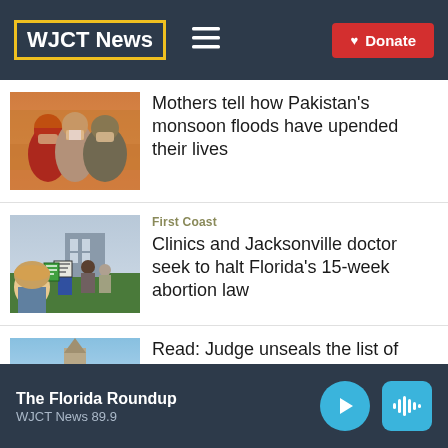WJCT News
[Figure (photo): Two women wearing face coverings and colorful wraps in a tent, Pakistan flood relief context]
Mothers tell how Pakistan's monsoon floods have upended their lives
First Coast
[Figure (photo): Protesters holding signs outside a building, related to abortion law challenge in Jacksonville, Florida]
Clinics and Jacksonville doctor seek to halt Florida's 15-week abortion law
[Figure (photo): Partial image of a building with blue sky, related to FBI seized items story]
Read: Judge unseals the list of items FBI seized from
The Florida Roundup · WJCT News 89.9